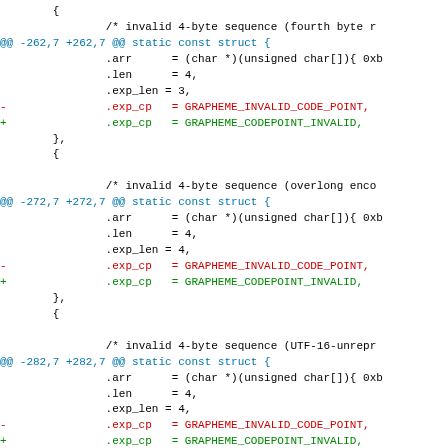diff --git code block showing three hunks of changes replacing GRAPHEME_INVALID_CODE_POINT with GRAPHEME_CODEPOINT_INVALID in three struct definitions for invalid 4-byte UTF-8 sequences